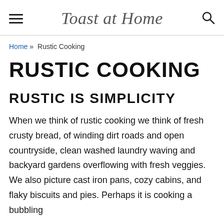Toast at Home
Home » Rustic Cooking
RUSTIC COOKING
RUSTIC IS SIMPLICITY
When we think of rustic cooking we think of fresh crusty bread, of winding dirt roads and open countryside, clean washed laundry waving and backyard gardens overflowing with fresh veggies. We also picture cast iron pans, cozy cabins, and flaky biscuits and pies. Perhaps it is cooking a bubbling